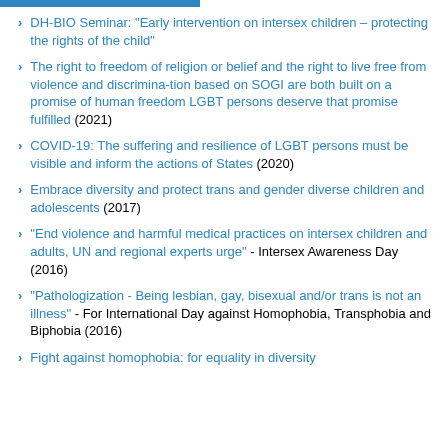DH-BIO Seminar: "Early intervention on intersex children – protecting the rights of the child"
The right to freedom of religion or belief and the right to live free from violence and discrimina-tion based on SOGI are both built on a promise of human freedom LGBT persons deserve that promise fulfilled (2021)
COVID-19: The suffering and resilience of LGBT persons must be visible and inform the actions of States (2020)
Embrace diversity and protect trans and gender diverse children and adolescents (2017)
"End violence and harmful medical practices on intersex children and adults, UN and regional experts urge" - Intersex Awareness Day (2016)
"Pathologization - Being lesbian, gay, bisexual and/or trans is not an illness" - For International Day against Homophobia, Transphobia and Biphobia (2016)
Fight against homophobia: for equality in diversity